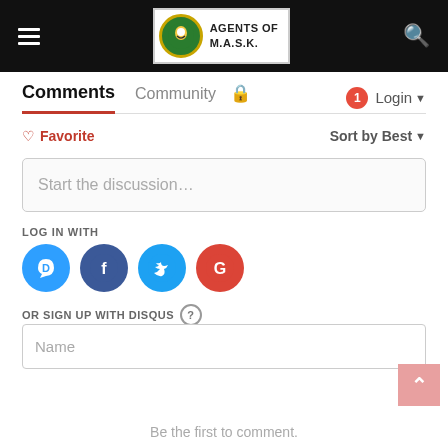Agents of M.A.S.K.
Comments  Community  Login
♡ Favorite    Sort by Best
Start the discussion…
LOG IN WITH
[Figure (other): Social login icons: Disqus (blue), Facebook (dark blue), Twitter (light blue), Google (red)]
OR SIGN UP WITH DISQUS ?
Name
Be the first to comment.